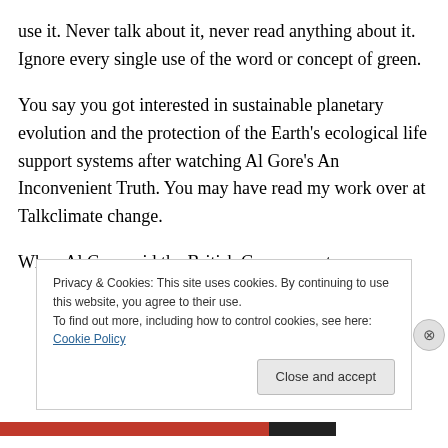use it. Never talk about it, never read anything about it. Ignore every single use of the word or concept of green.
You say you got interested in sustainable planetary evolution and the protection of the Earth's ecological life support systems after watching Al Gore's An Inconvenient Truth. You may have read my work over at Talkclimate change.
When Al Gore said the British Government say
Privacy & Cookies: This site uses cookies. By continuing to use this website, you agree to their use.
To find out more, including how to control cookies, see here: Cookie Policy